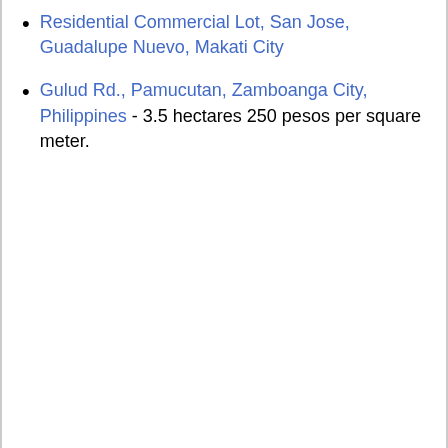Residential Commercial Lot, San Jose, Guadalupe Nuevo, Makati City
Gulud Rd., Pamucutan, Zamboanga City, Philippines - 3.5 hectares 250 pesos per square meter.